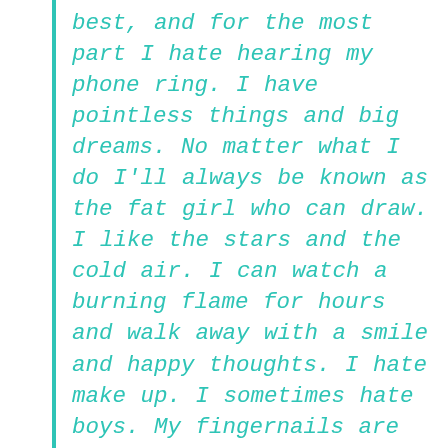best, and for the most part I hate hearing my phone ring. I have pointless things and big dreams. No matter what I do I'll always be known as the fat girl who can draw. I like the stars and the cold air. I can watch a burning flame for hours and walk away with a smile and happy thoughts. I hate make up. I sometimes hate boys. My fingernails are short, chipped, and dirty. Mud and grease is appealing. Paper compared to this monitor is amazing. My